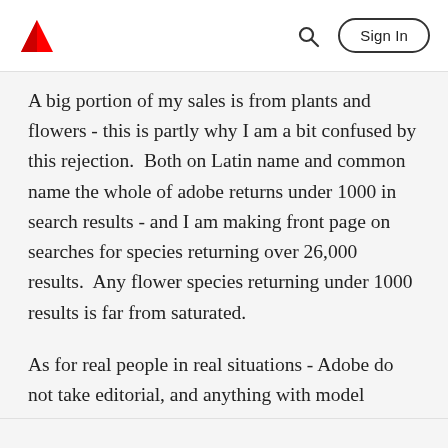Adobe | Sign In
A big portion of my sales is from plants and flowers - this is partly why I am a bit confused by this rejection.  Both on Latin name and common name the whole of adobe returns under 1000 in search results - and I am making front page on searches for species returning over 26,000 results.  Any flower species returning under 1000 results is far from saturated.
As for real people in real situations - Adobe do not take editorial, and anything with model releases is not real either people or situations.